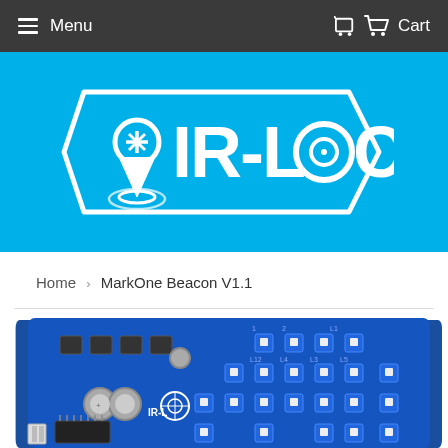Menu | Cart
[Figure (logo): IR-LOCK brand logo on cyan/blue background — white outlined hexagonal tag shape containing a location pin icon and the text IR-LOCK with a target/scope replacing the O]
Home › MarkOne Beacon V1.1
[Figure (photo): Close-up photograph of a blue PCB circuit board labeled IR-LOCK with LED components arranged in a grid pattern and various electronic components including capacitors and ICs]